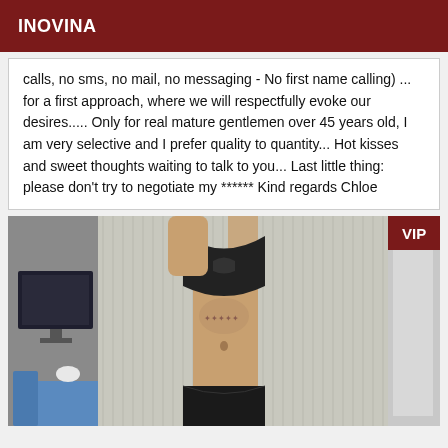INOVINA
calls, no sms, no mail, no messaging - No first name calling) ... for a first approach, where we will respectfully evoke our desires..... Only for real mature gentlemen over 45 years old, I am very selective and I prefer quality to quantity... Hot kisses and sweet thoughts waiting to talk to you... Last little thing: please don't try to negotiate my ****** Kind regards Chloe
[Figure (photo): A person wearing a grey cardigan open over black bra and black underwear, taking a mirror selfie. Background shows a room with a computer monitor and blue chair. A VIP badge is shown in the top right corner.]